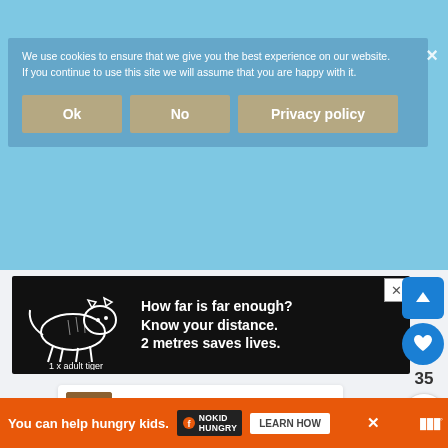your laptop or phone can have a huge impact on your faith. Scripture is so encouraging and reminds us many times throughout the day how w...n...
We use cookies to ensure that we give you the best experience on our website. If you continue to use this site we will assume that you are happy with it.
[Figure (screenshot): Cookie consent dialog with Ok, No, and Privacy policy buttons on a light blue background]
[Figure (screenshot): Advertisement: tiger illustration with text 'How far is far enough? Know your distance. 2 metres saves lives. 1 x adult tiger']
[Figure (screenshot): Social media UI with up-vote arrow button, heart/like button showing count 35, and share button]
WHAT'S NEXT →
Putting Your Hope in Jesus
[Figure (screenshot): Bottom advertisement: You can help hungry kids. No Kid Hungry. Learn How.]